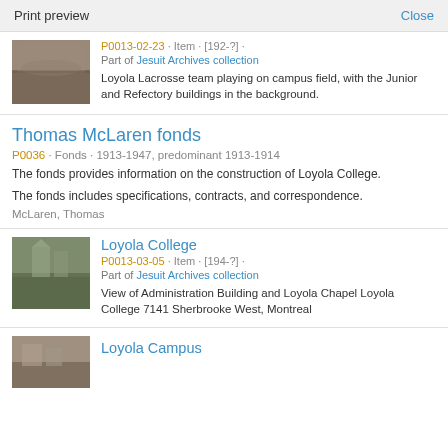Print preview   Close
[Figure (photo): Thumbnail photo of Loyola Lacrosse team on campus field, black and white historical image]
P0013-02-23 · Item · [192-?] · Part of Jesuit Archives collection
Loyola Lacrosse team playing on campus field, with the Junior and Refectory buildings in the background.
Thomas McLaren fonds
P0036 · Fonds · 1913-1947, predominant 1913-1914
The fonds provides information on the construction of Loyola College.
The fonds includes specifications, contracts, and correspondence.
McLaren, Thomas
Loyola College
[Figure (photo): Thumbnail photo of Loyola College Administration Building and Chapel, black and white historical image]
P0013-03-05 · Item · [194-?] · Part of Jesuit Archives collection
View of Administration Building and Loyola Chapel Loyola College 7141 Sherbrooke West, Montreal
Loyola Campus